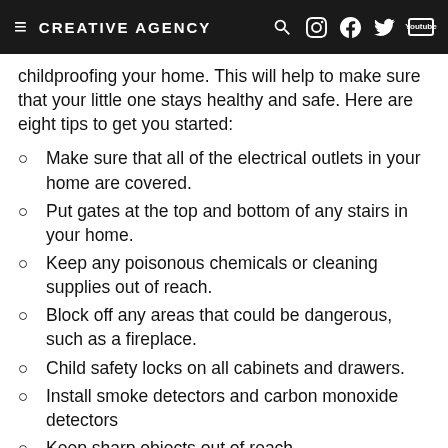CREATIVE AGENCY
childproofing your home. This will help to make sure that your little one stays healthy and safe. Here are eight tips to get you started:
Make sure that all of the electrical outlets in your home are covered.
Put gates at the top and bottom of any stairs in your home.
Keep any poisonous chemicals or cleaning supplies out of reach.
Block off any areas that could be dangerous, such as a fireplace.
Child safety locks on all cabinets and drawers.
Install smoke detectors and carbon monoxide detectors
Keep sharp objects out of reach.
Always supervise your child when they are around water.
Dress It Appropriately